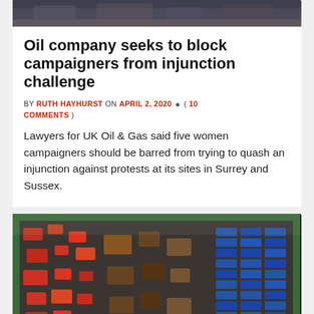[Figure (photo): Aerial or distant photo of an industrial/protest site, dark tones, partially visible at top of page]
Oil company seeks to block campaigners from injunction challenge
BY RUTH HAYHURST ON APRIL 2, 2020 • ( 10 COMMENTS )
Lawyers for UK Oil & Gas said five women campaigners should be barred from trying to quash an injunction against protests at its sites in Surrey and Sussex.
[Figure (photo): Aerial photograph of an oil drilling site with trucks, equipment, blue containers, and green perimeter fencing]